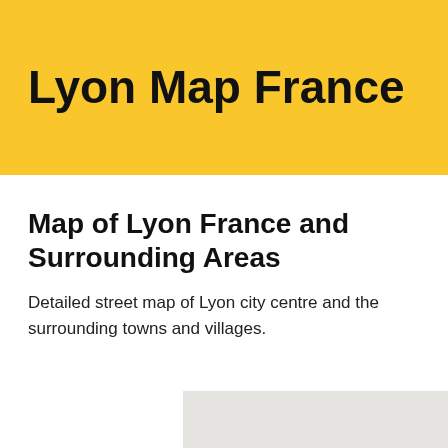Lyon Map France
Map of Lyon France and Surrounding Areas
Detailed street map of Lyon city centre and the surrounding towns and villages.
[Figure (map): Partial view of Lyon city map, showing a light grey map area occupying the right side of the lower portion of the page.]